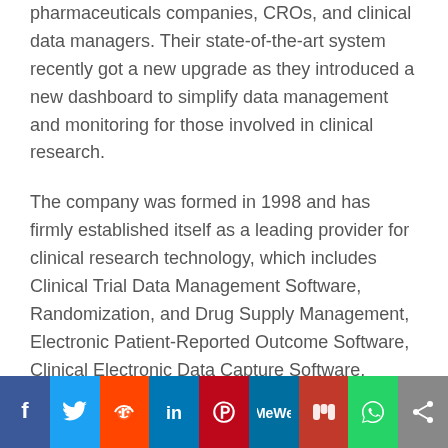pharmaceuticals companies, CROs, and clinical data managers. Their state-of-the-art system recently got a new upgrade as they introduced a new dashboard to simplify data management and monitoring for those involved in clinical research.
The company was formed in 1998 and has firmly established itself as a leading provider for clinical research technology, which includes Clinical Trial Data Management Software, Randomization, and Drug Supply Management, Electronic Patient-Reported Outcome Software, Clinical Electronic Data Capture Software, Clinical Trial Data Management Solutions, and much more. They also offer a free demo to help organizations understand their software.
[Figure (infographic): Social share bar with icons for Facebook, Twitter, Reddit, LinkedIn, Pinterest, MeWe, Mix, WhatsApp, and a share button]